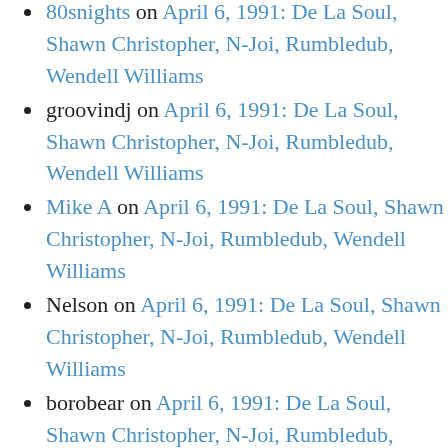80snights on April 6, 1991: De La Soul, Shawn Christopher, N-Joi, Rumbledub, Wendell Williams
groovindj on April 6, 1991: De La Soul, Shawn Christopher, N-Joi, Rumbledub, Wendell Williams
Mike A on April 6, 1991: De La Soul, Shawn Christopher, N-Joi, Rumbledub, Wendell Williams
Nelson on April 6, 1991: De La Soul, Shawn Christopher, N-Joi, Rumbledub, Wendell Williams
borobear on April 6, 1991: De La Soul, Shawn Christopher, N-Joi, Rumbledub, Wendell Williams
80snights on April 6, 1991: De La Soul, Shawn Christopher, N-Joi, Rumbledub, Wendell Williams